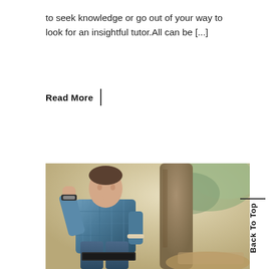to seek knowledge or go out of your way to look for an insightful tutor.All can be [...]
Read More |
[Figure (photo): A young man in a blue plaid shirt sitting outdoors near a tree, holding his chin thoughtfully, with a book, wearing a watch and bracelet.]
Back To Top